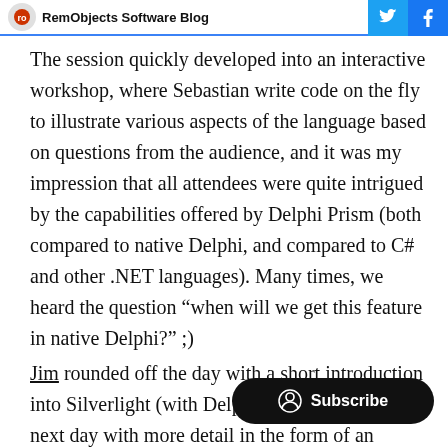RemObjects Software Blog
The session quickly developed into an interactive workshop, where Sebastian write code on the fly to illustrate various aspects of the language based on questions from the audience, and it was my impression that all attendees were quite intrigued by the capabilities offered by Delphi Prism (both compared to native Delphi, and compared to C# and other .NET languages). Many times, we heard the question “when will we get this feature in native Delphi?” ;)
Jim rounded off the day with a short introduction into Silverlight (with Delphi Prism), a … repeat the next day with more detail in the form of an